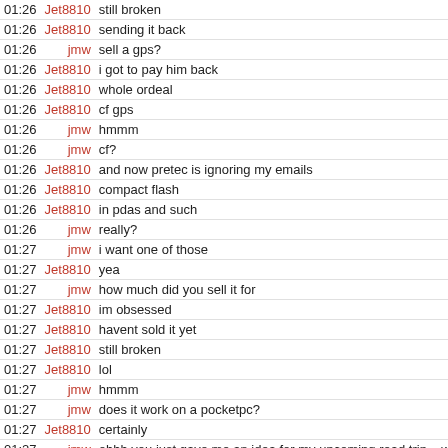| time | nick | message |
| --- | --- | --- |
| 01:26 | Jet8810 | still broken |
| 01:26 | Jet8810 | sending it back |
| 01:26 | jmw | sell a gps? |
| 01:26 | Jet8810 | i got to pay him back |
| 01:26 | Jet8810 | whole ordeal |
| 01:26 | Jet8810 | cf gps |
| 01:26 | jmw | hmmm |
| 01:26 | jmw | cf? |
| 01:26 | Jet8810 | and now pretec is ignoring my emails |
| 01:26 | Jet8810 | compact flash |
| 01:26 | Jet8810 | in pdas and such |
| 01:26 | jmw | really? |
| 01:27 | jmw | i want one of those |
| 01:27 | Jet8810 | yea |
| 01:27 | jmw | how much did you sell it for |
| 01:27 | Jet8810 | im obsessed |
| 01:27 | Jet8810 | havent sold it yet |
| 01:27 | Jet8810 | still broken |
| 01:27 | Jet8810 | lol |
| 01:27 | jmw | hmmm |
| 01:27 | jmw | does it work on a pocketpc? |
| 01:27 | Jet8810 | certainly |
| 01:27 | jmw | ohhh you just gave me an idea for my upcoming road trip... wh |
| 01:27 | Jet8810 | well |